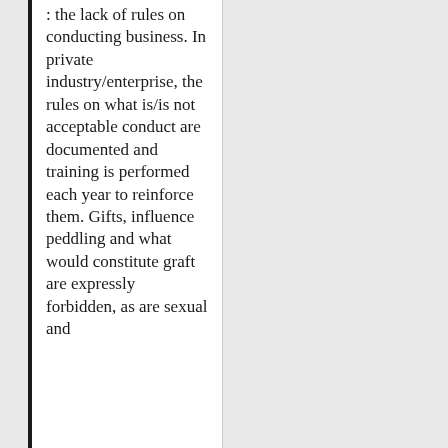: the lack of rules on conducting business. In private industry/enterprise, the rules on what is/is not acceptable conduct are documented and training is performed each year to reinforce them. Gifts, influence peddling and what would constitute graft are expressly forbidden, as are sexual and